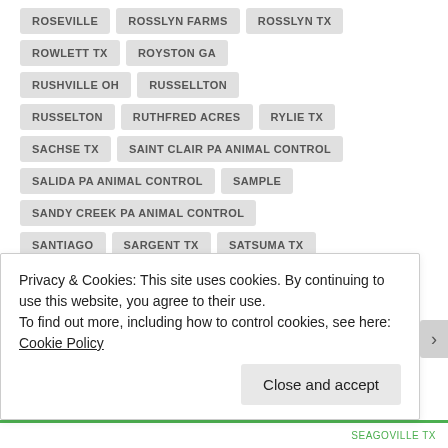ROSEVILLE
ROSSLYN FARMS
ROSSLYN TX
ROWLETT TX
ROYSTON GA
RUSHVILLE OH
RUSSELLTON
RUSSELTON
RUTHFRED ACRES
RYLIE TX
SACHSE TX
SAINT CLAIR PA ANIMAL CONTROL
SALIDA PA ANIMAL CONTROL
SAMPLE
SANDY CREEK PA ANIMAL CONTROL
SANTIAGO
SARGENT TX
SATSUMA TX
SAUGUS
SCENIC WOODS TX
SCHENLEY HEIGHTS PA ANIMAL CONTROL
SCOTT TWP
SEABROOK TX
SEAGOVILLE TX
Privacy & Cookies: This site uses cookies. By continuing to use this website, you agree to their use.
To find out more, including how to control cookies, see here: Cookie Policy
Close and accept